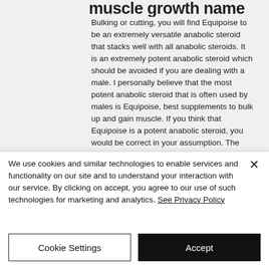muscle growth name
Bulking or cutting, you will find Equipoise to be an extremely versatile anabolic steroid that stacks well with all anabolic steroids. It is an extremely potent anabolic steroid which should be avoided if you are dealing with a male. I personally believe that the most potent anabolic steroid that is often used by males is Equipoise, best supplements to bulk up and gain muscle. If you think that Equipoise is a potent anabolic steroid, you would be correct in your assumption. The only major concern with Equipoise is that
We use cookies and similar technologies to enable services and functionality on our site and to understand your interaction with our service. By clicking on accept, you agree to our use of such technologies for marketing and analytics. See Privacy Policy
Cookie Settings
Accept